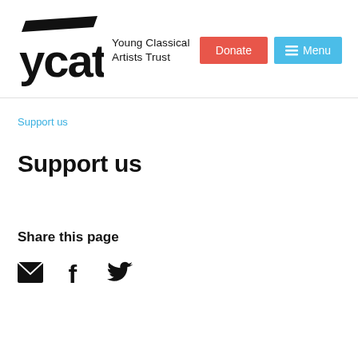[Figure (logo): YCAT logo — stylized black parallelogram stripe above bold lowercase 'ycat' letters, followed by text 'Young Classical Artists Trust']
Donate
≡ Menu
Support us
Support us
Share this page
[Figure (infographic): Three social share icons: envelope (email), Facebook 'f', Twitter bird]